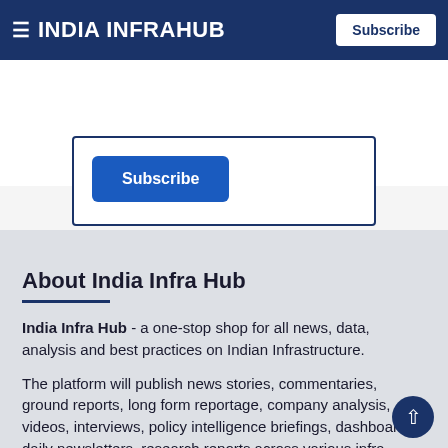≡ INDIA INFRAHUB  Subscribe
[Figure (screenshot): Subscribe button box with dark navy border on white background]
About India Infra Hub
India Infra Hub - a one-stop shop for all news, data, analysis and best practices on Indian Infrastructure.
The platform will publish news stories, commentaries, ground reports, long form reportage, company analysis, videos, interviews, policy intelligence briefings, dashboards, daily newsletters, research reports across various infra sectors- road, rail, metro, airport and power etc.